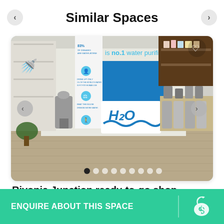Similar Spaces
[Figure (photo): Interior of H2O water purification company store showing water dispensers and product displays with branded signage]
Rivonia Junction ready-to-go shop
Rivonia Junction Centre, Rivonia Road, Edenburg
ENQUIRE ABOUT THIS SPACE